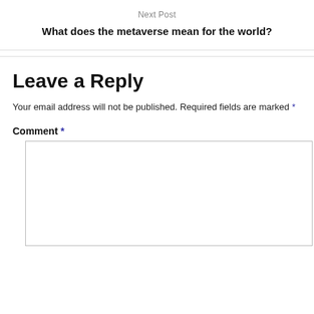Next Post
What does the metaverse mean for the world?
Leave a Reply
Your email address will not be published. Required fields are marked *
Comment *